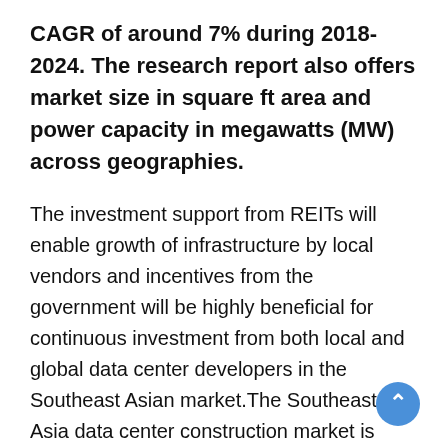CAGR of around 7% during 2018-2024. The research report also offers market size in square ft area and power capacity in megawatts (MW) across geographies.
The investment support from REITs will enable growth of infrastructure by local vendors and incentives from the government will be highly beneficial for continuous investment from both local and global data center developers in the Southeast Asian market.The Southeast Asia data center construction market is driven by increasing deployments across emerging regions such as the Philippines, Vietnam, Myanmar, Cambodia, and